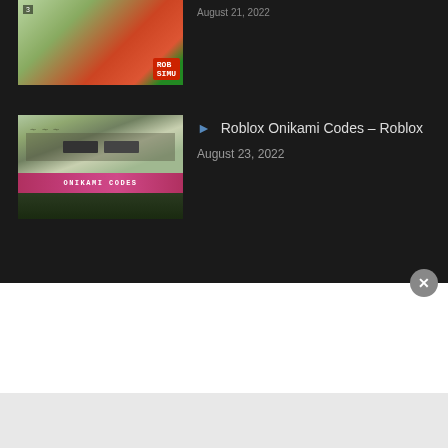[Figure (screenshot): Partial video thumbnail at top of page, cropped game screenshot with ROB/SIMU labels visible]
[Figure (screenshot): Thumbnail for Roblox Onikami Codes video showing anime eyes and pink ONIKAMI CODES bar]
► Roblox Onikami Codes – Roblox
August 23, 2022
Popular Categoy
► Cheats (162)
► Codes (504)